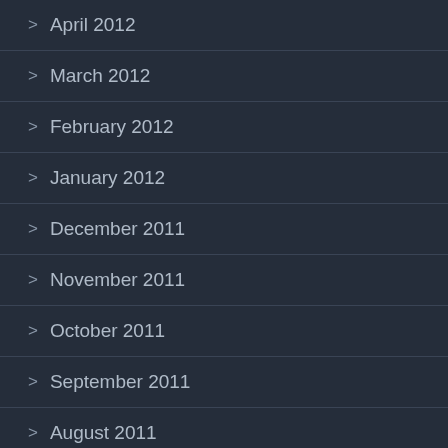> April 2012
> March 2012
> February 2012
> January 2012
> December 2011
> November 2011
> October 2011
> September 2011
> August 2011
> July 2011